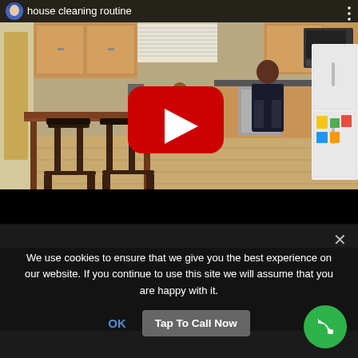[Figure (screenshot): YouTube video thumbnail showing a kitchen cleaning routine video. A woman is standing at a kitchen island. The video has a red play button overlay in the center. The video header shows a circular avatar with blue hair and the title 'house cleaning routine'. There are wooden cabinets, a white refrigerator, bar stools, and hardwood floors visible.]
We use cookies to ensure that we give you the best experience on our website. If you continue to use this site we will assume that you are happy with it.
OK
Tap To Call Now